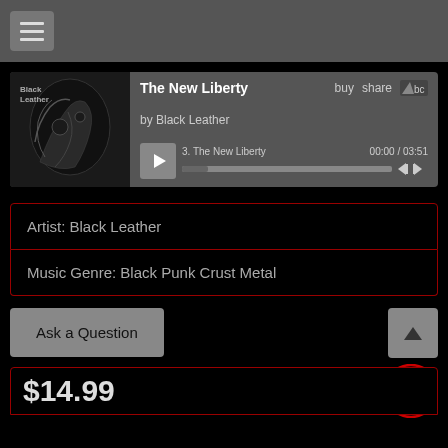[Figure (screenshot): Navigation bar with hamburger menu icon]
[Figure (screenshot): Music player widget for 'The New Liberty' by Black Leather on Bandcamp. Track 3 showing 00:00 / 03:51 with play controls.]
Artist: Black Leather
Music Genre: Black Punk Crust Metal
Ask a Question
$14.99